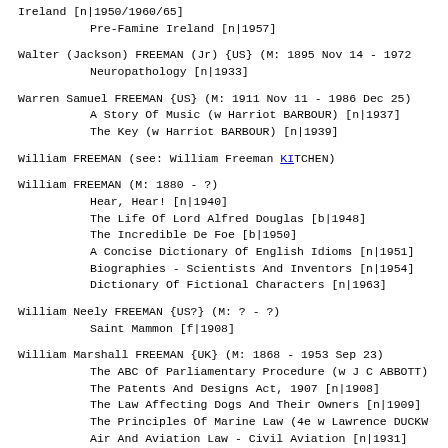Ireland [n|1950/1960/65]
        Pre-Famine Ireland [n|1957]
Walter (Jackson) FREEMAN (Jr) {US} (M: 1895 Nov 14 - 1972
        Neuropathology [n|1933]
Warren Samuel FREEMAN {US} (M: 1911 Nov 11 - 1986 Dec 25)
        A Story Of Music (w Harriot BARBOUR) [n|1937]
        The Key (w Harriot BARBOUR) [n|1939]
William FREEMAN (see: William Freeman KITCHEN)
William FREEMAN (M: 1880 - ?)
        Hear, Hear! [n|1940]
        The Life Of Lord Alfred Douglas [b|1948]
        The Incredible De Foe [b|1950]
        A Concise Dictionary Of English Idioms [n|1951]
        Biographies - Scientists And Inventors [n|1954]
        Dictionary Of Fictional Characters [n|1963]
William Neely FREEMAN {US?} (M: ? - ?)
        Saint Mammon [f|1908]
William Marshall FREEMAN {UK} (M: 1868 - 1953 Sep 23)
        The ABC Of Parliamentary Procedure (w J C ABBOTT)
        The Patents And Designs Act, 1907 [n|1908]
        The Law Affecting Dogs And Their Owners [n|1909]
        The Principles Of Marine Law (4e w Lawrence DUCK)
        Air And Aviation Law - Civil Aviation [n|1931]
        A Pleasant Hour In The Temple [n|1932]
        Suggestion For Public Acquisition Of Land [n|11]